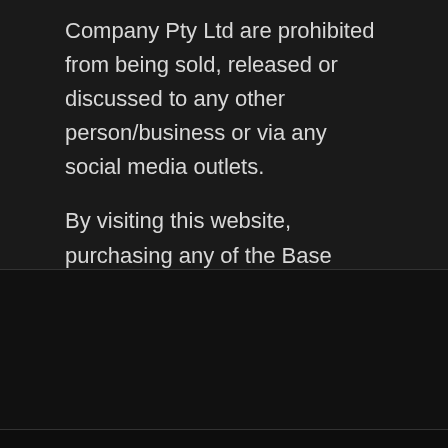Company Pty Ltd are prohibited from being sold, released or discussed to any other person/business or via any social media outlets.
By visiting this website, purchasing any of the Base Body Company Pty Ltd products and accepting this Privacy Policy, you agree to the above.